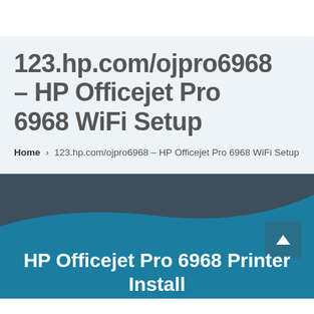123.hp.com/ojpro6968 – HP Officejet Pro 6968 WiFi Setup
Home › 123.hp.com/ojpro6968 – HP Officejet Pro 6968 WiFi Setup
[Figure (illustration): Teal wave/curve shape transitioning from dark gray-blue at the top to teal-blue background, with a scroll-to-top button (arrow up icon in dark teal square)]
HP Officejet Pro 6968 Printer Install